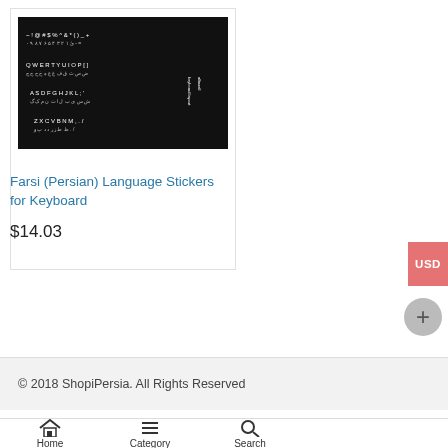[Figure (photo): Black keyboard sticker sheet showing Farsi/Persian and English characters in white text on black background]
Farsi (Persian) Language Stickers for Keyboard
$14.03
© 2018 ShopiPersia. All Rights Reserved
Home
Category
Search